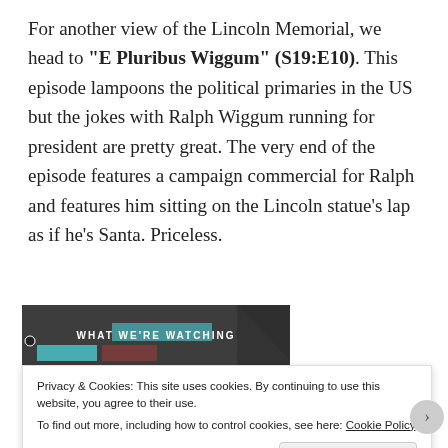For another view of the Lincoln Memorial, we head to “E Pluribus Wiggum” (S19:E10). This episode lampoons the political primaries in the US but the jokes with Ralph Wiggum running for president are pretty great. The very end of the episode features a campaign commercial for Ralph and features him sitting on the Lincoln statue’s lap as if he’s Santa. Priceless.
[Figure (screenshot): Partial screenshot of a webpage section labeled 'WHAT WE'RE WATCHING' with a teal/dark color scheme]
Privacy & Cookies: This site uses cookies. By continuing to use this website, you agree to their use. To find out more, including how to control cookies, see here: Cookie Policy
Close and accept